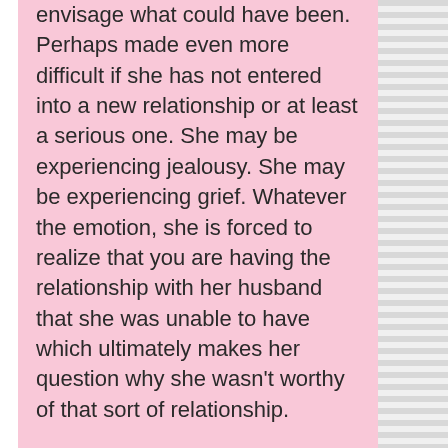envisage what could have been. Perhaps made even more difficult if she has not entered into a new relationship or at least a serious one. She may be experiencing jealousy. She may be experiencing grief. Whatever the emotion, she is forced to realize that you are having the relationship with her husband that she was unable to have which ultimately makes her question why she wasn't worthy of that sort of relationship.
3.   She doesn't know you.
Your family knows your kind heart. Your friends know your penchant for